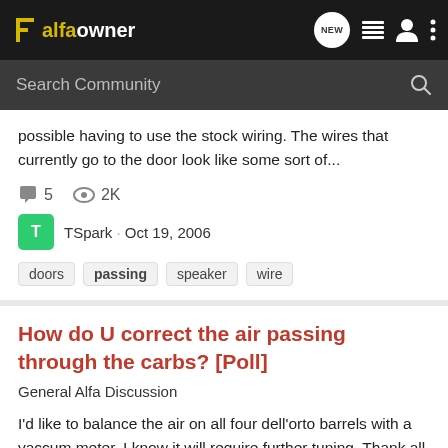alfaowner
possible having to use the stock wiring. The wires that currently go to the door look like some sort of...
5 comments · 2K views
TSpark · Oct 19, 2006
doors · passing · speaker · wire
How do U correct the air passing through the carbs? [Poll]
General Alfa Discussion
I'd like to balance the air on all four dell'orto barrels with a vaccum meter, I know it will require further tuning. Thank all
0 comments · 547 views